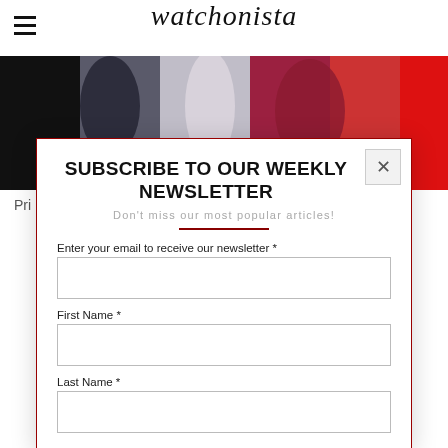watchonista
[Figure (photo): Group of people at an event, wearing dark and pink/red clothing]
Pri
SUBSCRIBE TO OUR WEEKLY NEWSLETTER
Don't miss our most popular articles!
Enter your email to receive our newsletter *
First Name *
Last Name *